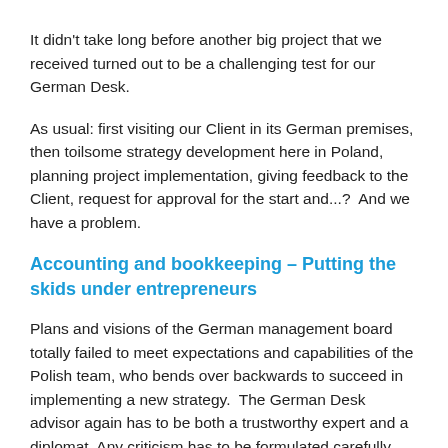It didn't take long before another big project that we received turned out to be a challenging test for our German Desk.
As usual: first visiting our Client in its German premises, then toilsome strategy development here in Poland, planning project implementation, giving feedback to the Client, request for approval for the start and...?  And we have a problem.
Accounting and bookkeeping – Putting the skids under entrepreneurs
Plans and visions of the German management board totally failed to meet expectations and capabilities of the Polish team, who bends over backwards to succeed in implementing a new strategy.  The German Desk advisor again has to be both a trustworthy expert and a diplomat. Any criticism has to be formulated carefully and to the point —  our German Client needs to understand they they can count on active engagement of their Polish employees, but also know that, to